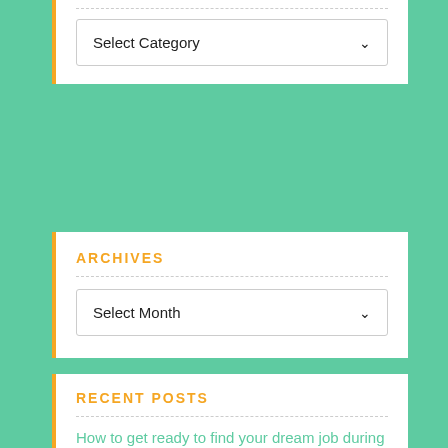Select Category
ARCHIVES
Select Month
RECENT POSTS
How to get ready to find your dream job during the summer holidays
What I've learned about how to be successful